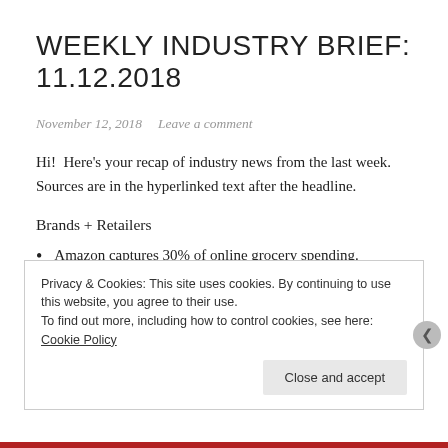WEEKLY INDUSTRY BRIEF: 11.12.2018
November 12, 2018   Leave a comment
Hi!  Here's your recap of industry news from the last week. Sources are in the hyperlinked text after the headline.
Brands + Retailers
Amazon captures 30% of online grocery spending. RetailDive
Wall Street analysts are now selling more data, less
Privacy & Cookies: This site uses cookies. By continuing to use this website, you agree to their use. To find out more, including how to control cookies, see here: Cookie Policy